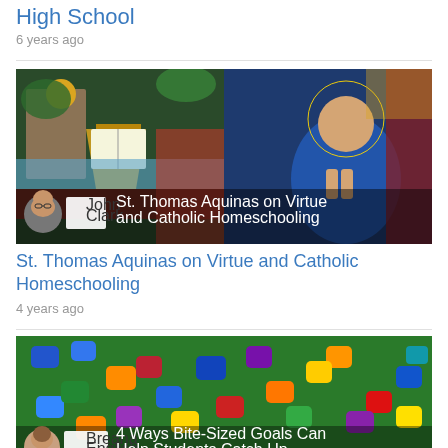High School
6 years ago
[Figure (photo): Stained glass image of a praying monk/saint with halo, with overlay text 'St. Thomas Aquinas on Virtue and Catholic Homeschooling' and author John Clark]
St. Thomas Aquinas on Virtue and Catholic Homeschooling
4 years ago
[Figure (photo): Colorful wooden blocks/dice on a green surface, with overlay text '4 Ways Bite-Sized Goals Can Help Students Catch Up' and author Breana English]